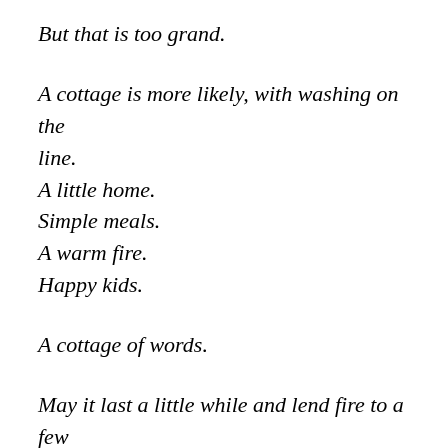But that is too grand.
A cottage is more likely, with washing on the line.
A little home.
Simple meals.
A warm fire.
Happy kids.
A cottage of words.
May it last a little while and lend fire to a few tired travelers, moving through whatever